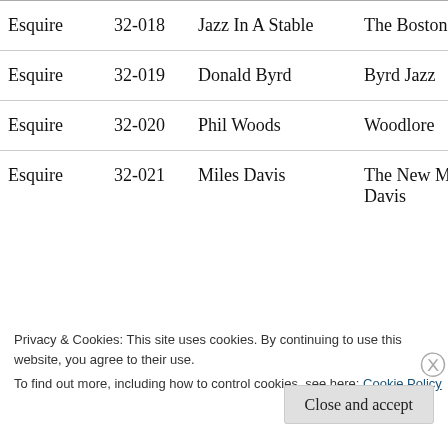| Label | Number | Artist | Album |
| --- | --- | --- | --- |
| Esquire | 32-018 | Jazz In A Stable | The Boston Scene |
| Esquire | 32-019 | Donald Byrd | Byrd Jazz |
| Esquire | 32-020 | Phil Woods | Woodlore |
| Esquire | 32-021 | Miles Davis | The New Miles Davis |
Privacy & Cookies: This site uses cookies. By continuing to use this website, you agree to their use.
To find out more, including how to control cookies, see here: Cookie Policy